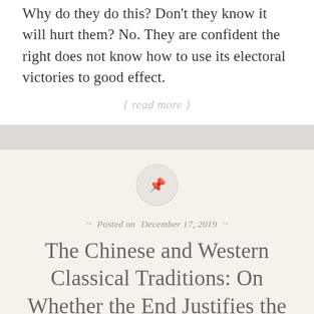Why do they do this? Don't they know it will hurt them? No. They are confident the right does not know how to use its electoral victories to good effect.
{ read more }
Posted on December 17, 2019
The Chinese and Western Classical Traditions: On Whether the End Justifies the Means